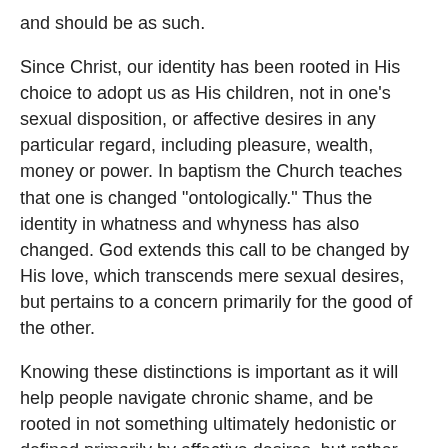and should be as such.
Since Christ, our identity has been rooted in His choice to adopt us as His children, not in one’s sexual disposition, or affective desires in any particular regard, including pleasure, wealth, money or power. In baptism the Church teaches that one is changed “ontologically.” Thus the identity in whatness and whyness has also changed. God extends this call to be changed by His love, which transcends mere sexual desires, but pertains to a concern primarily for the good of the other.
Knowing these distinctions is important as it will help people navigate chronic shame, and be rooted in not something ultimately hedonistic or defined primarily by affective desires, but rather rooted in the Creator Who defines us by the relationship He freely and universally extends to all, that some may be saved.”
Love & truth,